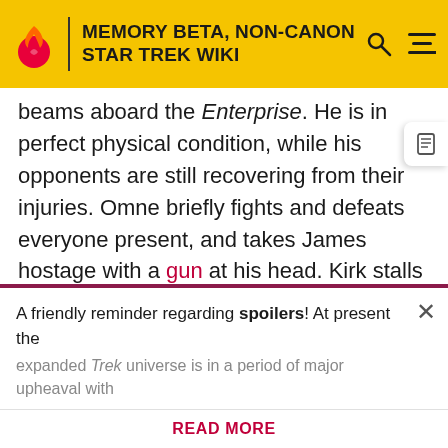MEMORY BETA, NON-CANON STAR TREK WIKI
beams aboard the Enterprise. He is in perfect physical condition, while his opponents are still recovering from their injuries. Omne briefly fights and defeats everyone present, and takes James hostage with a gun at his head. Kirk stalls Omne long enough for Scotty to transport Omne's weapon out of his hand. Omne is surprised long enough for the Commander to get James away from him, and Kirk shoots Omne with one of his own guns, outdrawing him… but Omne's body is transported away.
[Figure (other): Gray placeholder content block]
A friendly reminder regarding spoilers! At present the expanded Trek universe is in a period of major upheaval with
READ MORE